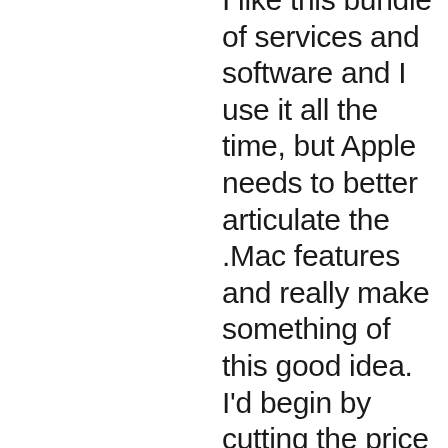I like this bundle of services and software and I use it all the time, but Apple needs to better articulate the .Mac features and really make something of this good idea. I'd begin by cutting the price and including a full year of .Mac with every new Mac. Apple bungled the transition from the free iTools service, annoying many Mac users who still refuse on somewhat misguided principle to have anything to do